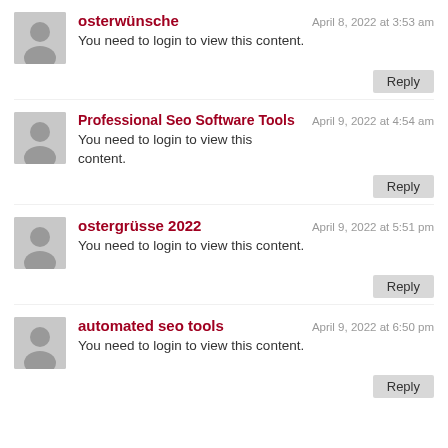osterwünsche — April 8, 2022 at 3:53 am — You need to login to view this content.
Professional Seo Software Tools — April 9, 2022 at 4:54 am — You need to login to view this content.
ostergrüsse 2022 — April 9, 2022 at 5:51 pm — You need to login to view this content.
automated seo tools — April 9, 2022 at 6:50 pm — You need to login to view this content.